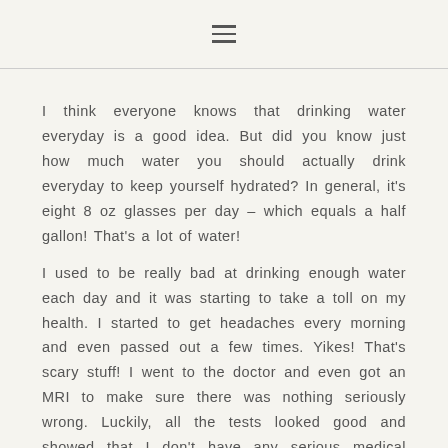≡
I think everyone knows that drinking water everyday is a good idea. But did you know just how much water you should actually drink everyday to keep yourself hydrated? In general, it's eight 8 oz glasses per day – which equals a half gallon! That's a lot of water!
I used to be really bad at drinking enough water each day and it was starting to take a toll on my health. I started to get headaches every morning and even passed out a few times. Yikes! That's scary stuff! I went to the doctor and even got an MRI to make sure there was nothing seriously wrong. Luckily, all the tests looked good and showed that I don't have any serious medical problems. It turns out I just needed